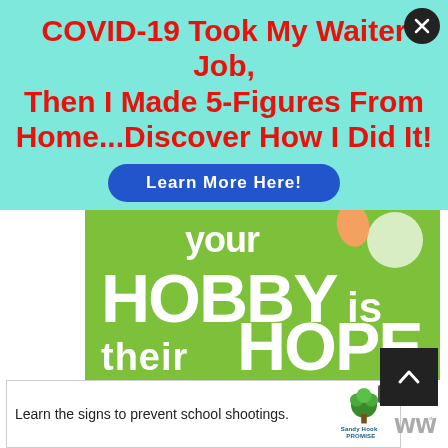COVID-19 Took My Waiter Job, Then I Made 5-Figures From Home...Discover How I Did It!
Learn More Here!
[Figure (photo): Green banner image showing text: 'your HOBBY is their HOPE' with 'LEARN WHY' and an orange underline decoration]
[Figure (infographic): Sandy Hook Promise advertisement: 'Learn the signs to prevent school shootings.' with Sandy Hook Promise logo]
[Figure (logo): Merriam-Webster logo (two W letters with superscript circle)]